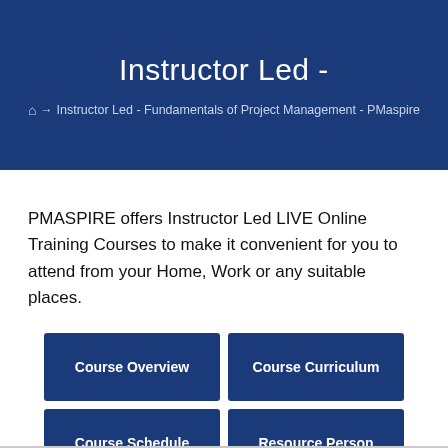Instructor Led -
Instructor Led - Fundamentals of Project Management - PMaspire
PMASPIRE offers Instructor Led LIVE Online Training Courses to make it convenient for you to attend from your Home, Work or any suitable places.
Course Overview
Course Curriculum
Course Schedule
Resource Person